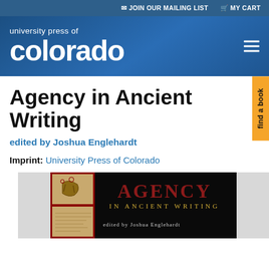JOIN OUR MAILING LIST   MY CART
[Figure (logo): University Press of Colorado logo with text 'university press of' on top line and 'colorado' in large bold white text below, with hamburger menu icon on right, on dark blue gradient background]
Agency in Ancient Writing
edited by Joshua Englehardt
Imprint: University Press of Colorado
[Figure (photo): Book cover for 'Agency in Ancient Writing' edited by Joshua Englehardt. Black background with red title text 'AGENCY' and subtitle 'IN ANCIENT WRITING'. Left side shows two tan/beige panels with ancient writing/artifact illustrations. Bottom shows editor name 'edited by Joshua Englehardt'.]